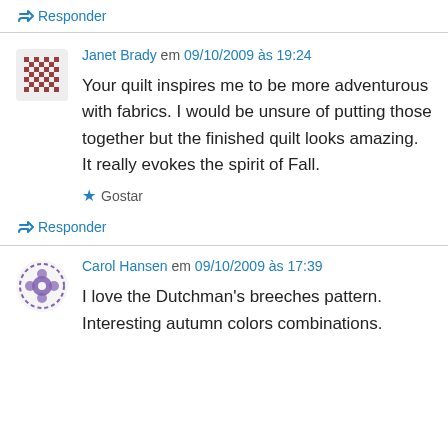↳ Responder
Janet Brady em 09/10/2009 às 19:24
Your quilt inspires me to be more adventurous with fabrics. I would be unsure of putting those together but the finished quilt looks amazing. It really evokes the spirit of Fall.
★ Gostar
↳ Responder
Carol Hansen em 09/10/2009 às 17:39
I love the Dutchman's breeches pattern. Interesting autumn colors combinations.